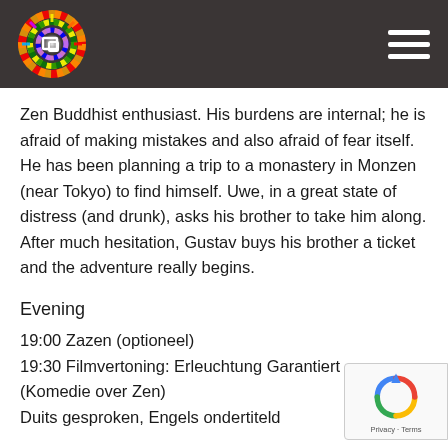Zen Buddhist enthusiast. His burdens are internal; he is afraid of making mistakes and also afraid of fear itself. He has been planning a trip to a monastery in Monzen (near Tokyo) to find himself. Uwe, in a great state of distress (and drunk), asks his brother to take him along. After much hesitation, Gustav buys his brother a ticket and the adventure really begins.
Evening
19:00 Zazen (optioneel)
19:30 Filmvertoning: Erleuchtung Garantiert
(Komedie over Zen)
Duits gesproken, Engels ondertiteld